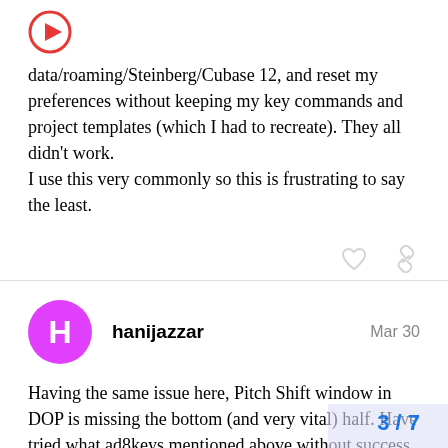[Figure (other): Red circular play button icon]
data/roaming/Steinberg/Cubase 12, and reset my preferences without keeping my key commands and project templates (which I had to recreate). They all didn't work.
I use this very commonly so this is frustrating to say the least.
hanijazzar  Mar 30
Having the same issue here, Pitch Shift window in DOP is missing the bottom (and very vital) half. Have tried what ad8keys mentioned above without success. This happened after switching to Cubase 12.
3 / 7